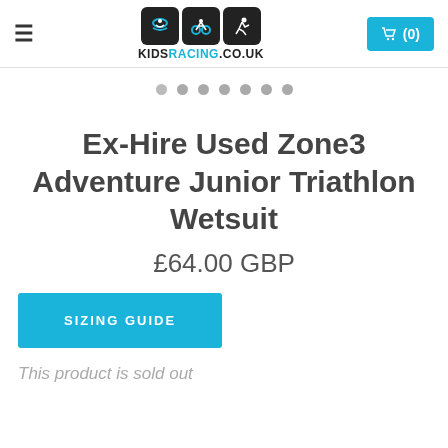KIDSRACING.CO.UK — (0) cart
[Figure (other): Navigation dots row showing 7 grey circular dots for image carousel]
Ex-Hire Used Zone3 Adventure Junior Triathlon Wetsuit
£64.00 GBP
SIZING GUIDE
This product is sold out